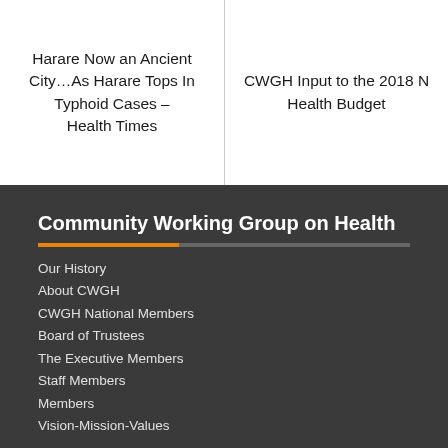Harare Now an Ancient City…As Harare Tops In Typhoid Cases – Health Times
CWGH Input to the 2018 N Health Budget
Community Working Group on Health
Our History
About CWGH
CWGH National Members
Board of Trustees
The Executive Members
Staff Members
Members
Vision-Mission-Values
Cooporating Partners